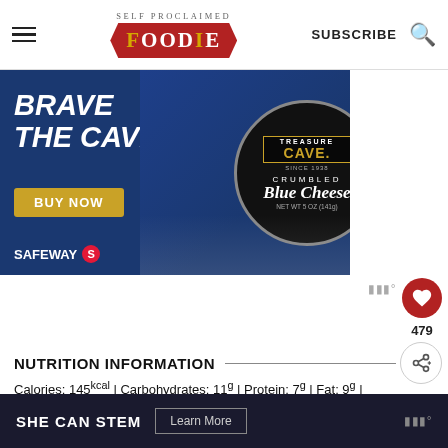SELF PROCLAIMED FOODIE | SUBSCRIBE
[Figure (photo): Advertisement for Treasure Cave Crumbled Blue Cheese at Safeway. Blue background with text 'BRAVE THE CAVE', 'BUY NOW' button, Safeway logo, and a container of Treasure Cave Crumbled Blue Cheese (NET WT 5 OZ / 141g).]
NUTRITION INFORMATION
Calories: 145kcal | Carbohydrates: 11g | Protein: 7g | Fat: 9g | Saturated Fat: 1g | Cholesterol: Sodium: 36mg | Potassium: 247mg | Fiber: 0g | Sugar: 7g | Vitamin A: 228IU | Vitamin C: 5mg |
SHE CAN STEM  Learn More